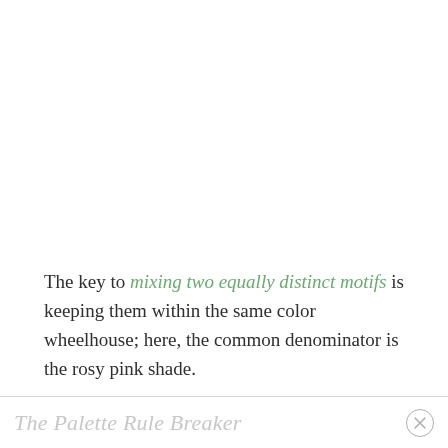The key to mixing two equally distinct motifs is keeping them within the same color wheelhouse; here, the common denominator is the rosy pink shade.
The Palette Rule Breaker